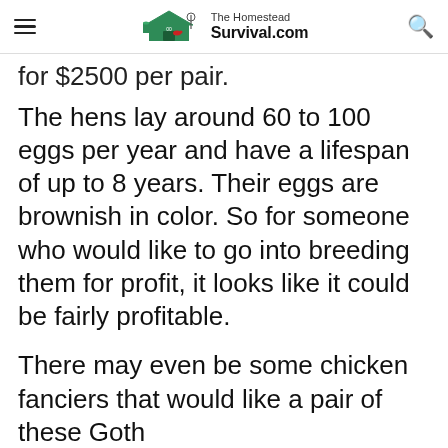The Homestead Survival.com
for $2500 per pair.
The hens lay around 60 to 100 eggs per year and have a lifespan of up to 8 years. Their eggs are brownish in color. So for someone who would like to go into breeding them for profit, it looks like it could be fairly profitable.
There may even be some chicken fanciers that would like a pair of these Goth